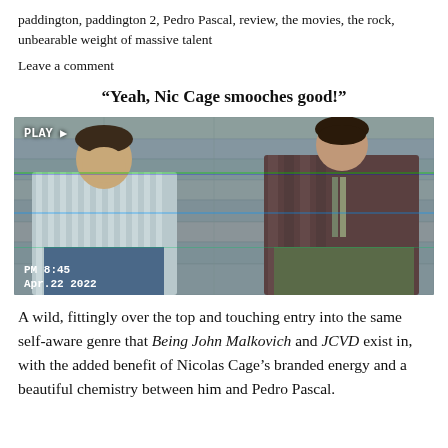paddington, paddington 2, Pedro Pascal, review, the movies, the rock, unbearable weight of massive talent
Leave a comment
“Yeah, Nic Cage smooches good!”
[Figure (photo): Two men sitting on stone steps. Left man in striped shirt laughing with head back. Right man in dark shirt looking forward. VHS-style timestamp overlay reading PM 8:45 Apr.22 2022 and PLAY label in top-left.]
A wild, fittingly over the top and touching entry into the same self-aware genre that Being John Malkovich and JCVD exist in, with the added benefit of Nicolas Cage’s branded energy and a beautiful chemistry between him and Pedro Pascal.